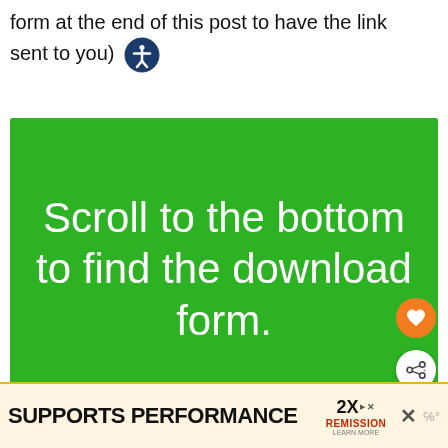form at the end of this post to have the link sent to you)
[Figure (other): Green banner image with white text reading: Scroll to the bottom to find the download form.]
[Figure (other): Advertisement bar at bottom: SUPPORTS PERFORMANCE with 2X Remission logo and close button]